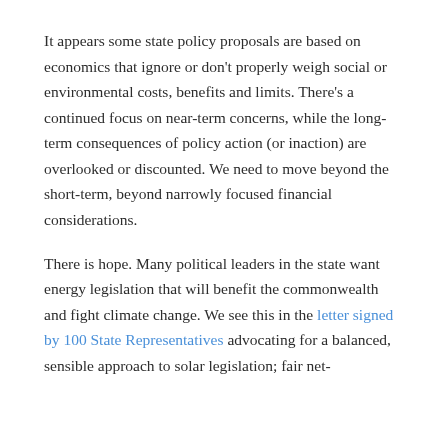It appears some state policy proposals are based on economics that ignore or don't properly weigh social or environmental costs, benefits and limits. There's a continued focus on near-term concerns, while the long-term consequences of policy action (or inaction) are overlooked or discounted. We need to move beyond the short-term, beyond narrowly focused financial considerations.
There is hope. Many political leaders in the state want energy legislation that will benefit the commonwealth and fight climate change. We see this in the letter signed by 100 State Representatives advocating for a balanced, sensible approach to solar legislation; fair net-